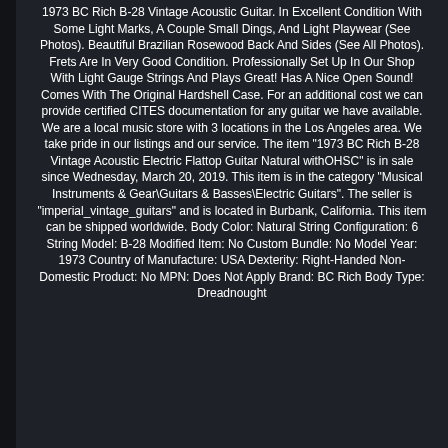1973 BC Rich B-28 Vintage Acoustic Guitar. In Excellent Condition With Some Light Marks, A Couple Small Dings, And Light Playwear (See Photos). Beautiful Brazilian Rosewood Back And Sides (See All Photos). Frets Are In Very Good Condition. Professionally Set Up In Our Shop With Light Gauge Strings And Plays Great! Has A Nice Open Sound! Comes With The Original Hardshell Case. For an additional cost we can provide certified CITES documentation for any guitar we have available. We are a local music store with 3 locations in the Los Angeles area. We take pride in our listings and our service. The item "1973 BC Rich B-28 Vintage Acoustic Electric Flattop Guitar Natural withOHSC" is in sale since Wednesday, March 20, 2019. This item is in the category "Musical Instruments & Gear\Guitars & Basses\Electric Guitars". The seller is "imperial_vintage_guitars" and is located in Burbank, California. This item can be shipped worldwide. Body Color: Natural String Configuration: 6 String Model: B-28 Modified Item: No Custom Bundle: No Model Year: 1973 Country of Manufacture: USA Dexterity: Right-Handed Non-Domestic Product: No MPN: Does Not Apply Brand: BC Rich Body Type: Dreadnought